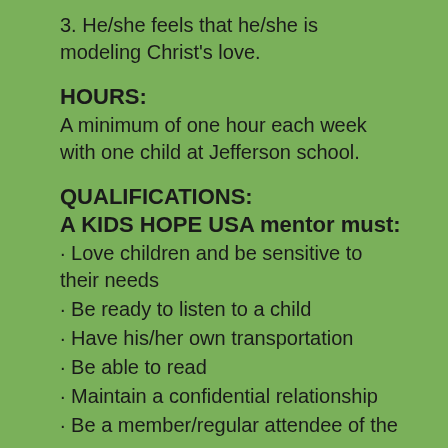3. He/she feels that he/she is modeling Christ's love.
HOURS:
A minimum of one hour each week with one child at Jefferson school.
QUALIFICATIONS:
A KIDS HOPE USA mentor must:
• Love children and be sensitive to their needs
• Be ready to listen to a child
• Have his/her own transportation
• Be able to read
• Maintain a confidential relationship
• Be a member/regular attendee of the